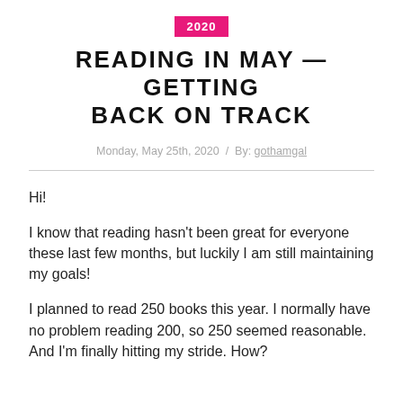2020
READING IN MAY —GETTING BACK ON TRACK
Monday, May 25th, 2020  /  By: gothamgal
Hi!
I know that reading hasn't been great for everyone these last few months, but luckily I am still maintaining my goals!
I planned to read 250 books this year. I normally have no problem reading 200, so 250 seemed reasonable. And I'm finally hitting my stride. How?